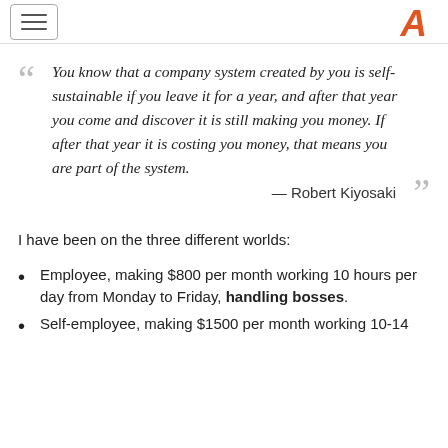“You know that a company system created by you is self-sustainable if you leave it for a year, and after that year you come and discover it is still making you money. If after that year it is costing you money, that means you are part of the system.” — Robert Kiyosaki
I have been on the three different worlds:
Employee, making $800 per month working 10 hours per day from Monday to Friday, handling bosses.
Self-employee, making $1500 per month working 10-14